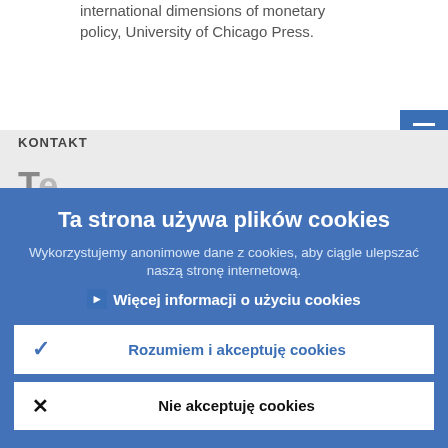international dimensions of monetary policy, University of Chicago Press.
[Figure (screenshot): Blue hamburger menu button (three horizontal lines) in top right corner]
[Figure (screenshot): Blue share button with network icon in top right corner]
KONTAKT
Ta strona używa plików cookies
Wykorzystujemy anonimowe dane z cookies, aby ciągle ulepszać naszą stronę internetową.
Więcej informacji o użyciu cookies
Rozumiem i akceptuję cookies
Nie akceptuję cookies